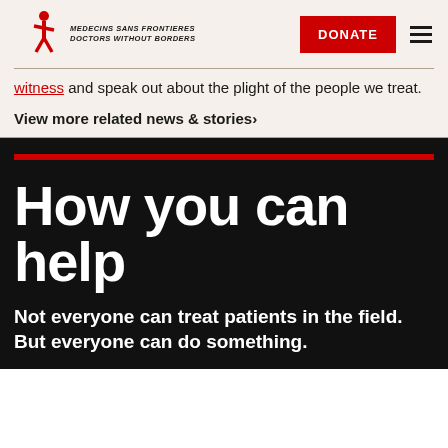[Figure (logo): Médecins Sans Frontières / Doctors Without Borders logo with red figure graphic and italic text]
witness and speak out about the plight of the people we treat.
View more related news & stories›
How you can help
Not everyone can treat patients in the field. But everyone can do something.